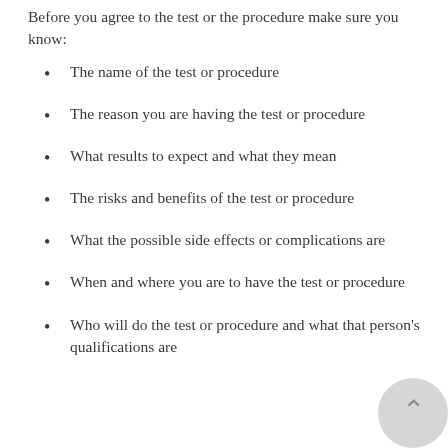Before you agree to the test or the procedure make sure you know:
The name of the test or procedure
The reason you are having the test or procedure
What results to expect and what they mean
The risks and benefits of the test or procedure
What the possible side effects or complications are
When and where you are to have the test or procedure
Who will do the test or procedure and what that person's qualifications are